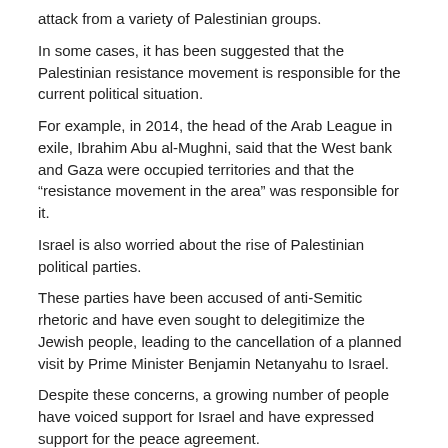attack from a variety of Palestinian groups.
In some cases, it has been suggested that the Palestinian resistance movement is responsible for the current political situation.
For example, in 2014, the head of the Arab League in exile, Ibrahim Abu al-Mughni, said that the West bank and Gaza were occupied territories and that the “resistance movement in the area” was responsible for it.
Israel is also worried about the rise of Palestinian political parties.
These parties have been accused of anti-Semitic rhetoric and have even sought to delegitimize the Jewish people, leading to the cancellation of a planned visit by Prime Minister Benjamin Netanyahu to Israel.
Despite these concerns, a growing number of people have voiced support for Israel and have expressed support for the peace agreement.
However these parties are also viewed as terrorist organizations by Israeli authorities, and Israel has been accused by the United Kingdom and other countries of supporting the Palestinian terrorist group Hamas.
There are also many Israeli citizens who are concerned about the continuing deterioration of their country’s image and the negative impact that the peace initiative has had on the country’s relationship with the United State.
In the past, Israelis were more concerned with the peace accords than their own